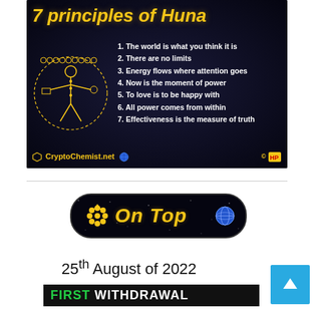[Figure (infographic): Dark starfield background image titled '7 principles of Huna' with a golden humanoid figure on the left and numbered list of 7 principles on the right. Footer shows CryptoChemsit.net branding.]
[Figure (logo): Black rounded rectangle badge with yellow 'On Top' text and icons on a starfield background.]
25th August of 2022
FIRST WITHDRAWAL